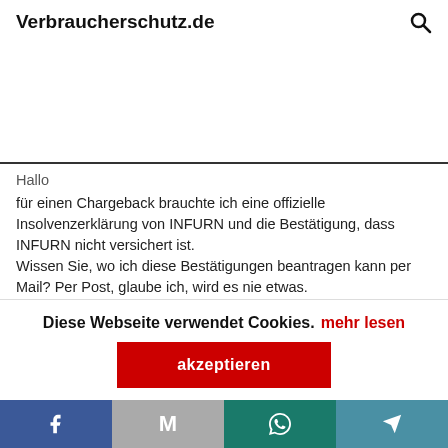Verbraucherschutz.de
Hallo
für einen Chargeback brauchte ich eine offizielle Insolvenzerklärung von INFURN und die Bestätigung, dass INFURN nicht versichert ist.
Wissen Sie, wo ich diese Bestätigungen beantragen kann per Mail? Per Post, glaube ich, wird es nie etwas.
Diese Webseite verwendet Cookies.  mehr lesen
akzeptieren